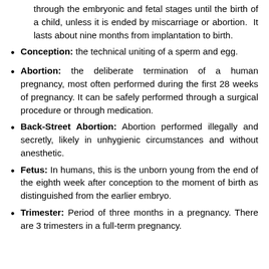through the embryonic and fetal stages until the birth of a child, unless it is ended by miscarriage or abortion. It lasts about nine months from implantation to birth.
Conception: the technical uniting of a sperm and egg.
Abortion: the deliberate termination of a human pregnancy, most often performed during the first 28 weeks of pregnancy. It can be safely performed through a surgical procedure or through medication.
Back-Street Abortion: Abortion performed illegally and secretly, likely in unhygienic circumstances and without anesthetic.
Fetus: In humans, this is the unborn young from the end of the eighth week after conception to the moment of birth as distinguished from the earlier embryo.
Trimester: Period of three months in a pregnancy. There are 3 trimesters in a full-term pregnancy.